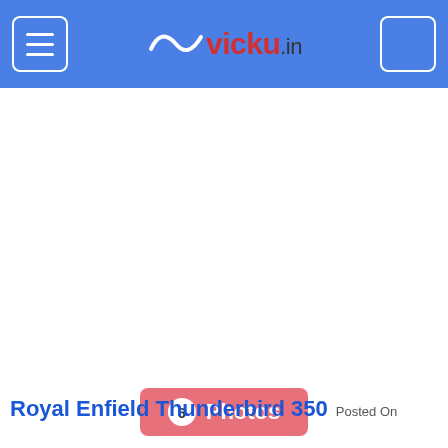vicky.in
[Figure (screenshot): White advertisement placeholder area below header]
[Figure (screenshot): White image/content area with 6 Photos button overlay]
Royal Enfield Thunderbird 350 Posted On